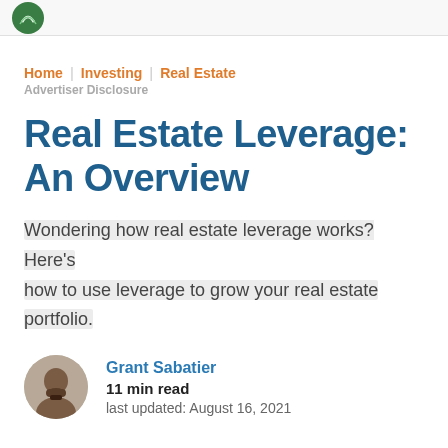Home | Investing | Real Estate
Advertiser Disclosure
Real Estate Leverage: An Overview
Wondering how real estate leverage works? Here's how to use leverage to grow your real estate portfolio.
Grant Sabatier
11 min read
last updated: August 16, 2021